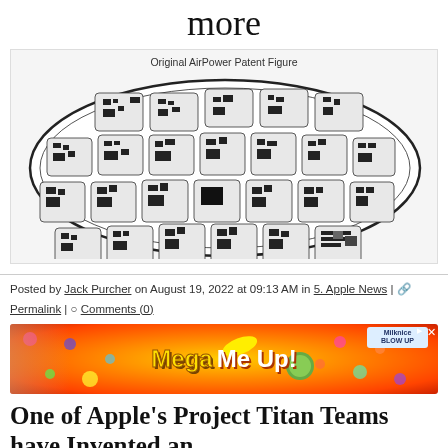more
[Figure (engineering-diagram): Original AirPower Patent Figure showing an oval-shaped wireless charging mat with multiple coil modules arranged in rows inside the oval, with circuit board schematics visible in each module square. Labeled 'Patently Apple' watermark.]
Posted by Jack Purcher on August 19, 2022 at 09:13 AM in 5. Apple News | Permalink | Comments (0)
[Figure (photo): Advertisement banner: Mega Me Up! colorful candy advertisement with a person and Milk Ice product.]
One of Apple's Project Titan Teams have Invented an